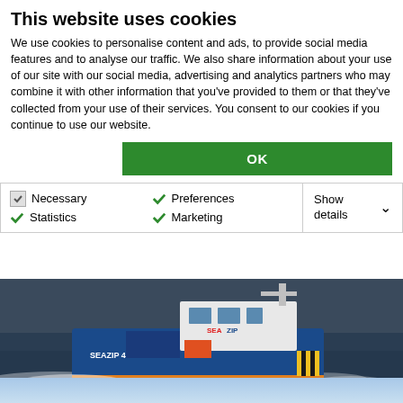This website uses cookies
We use cookies to personalise content and ads, to provide social media features and to analyse our traffic. We also share information about your use of our site with our social media, advertising and analytics partners who may combine it with other information that you've provided to them or that they've collected from your use of their services. You consent to our cookies if you continue to use our website.
OK
Necessary | Preferences | Statistics | Marketing | Show details
[Figure (photo): Blue and white offshore service vessel (SeaZip 4) sailing at speed on choppy sea, with text 'Offshore service vessels' overlaid at bottom left]
[Figure (photo): Partial view of a light blue sky, bottom strip of another photo]